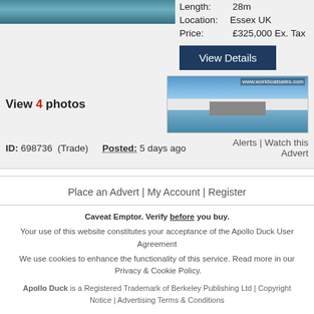[Figure (photo): Partial view of a boat/vessel on water, cropped at top]
Length: 28m
Location: Essex UK
Price: £325,000 Ex. Tax
View Details
View 4 photos
[Figure (photo): Workboatsales.com sponsor banner showing a vessel on water]
ID: 698736  (Trade)    Posted: 5 days ago    Alerts | Watch this Advert
Place an Advert | My Account | Register
Caveat Emptor. Verify before you buy.
Your use of this website constitutes your acceptance of the Apollo Duck User Agreement
We use cookies to enhance the functionality of this service. Read more in our Privacy & Cookie Policy.
Apollo Duck is a Registered Trademark of Berkeley Publishing Ltd | Copyright Notice | Advertising Terms & Conditions